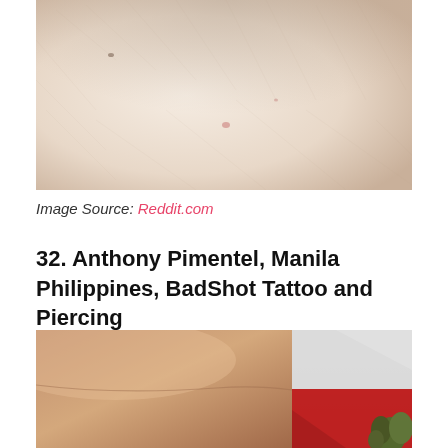[Figure (photo): Close-up photo of light-colored human skin showing fine texture and a small reddish spot]
Image Source: Reddit.com
32. Anthony Pimentel, Manila Philippines, BadShot Tattoo and Piercing
[Figure (photo): Close-up photo of skin on an arm or wrist area with a flag (white and red) and greenery visible in the background]